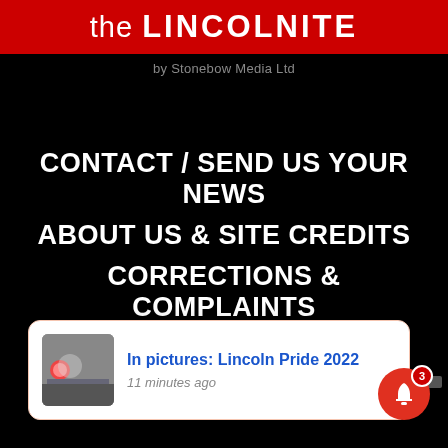the LINCOLNITE
by Stonebow Media Ltd
CONTACT / SEND US YOUR NEWS
ABOUT US & SITE CREDITS
CORRECTIONS & COMPLAINTS
[Figure (screenshot): Notification popup showing 'In pictures: Lincoln Pride 2022' article with thumbnail image and '11 minutes ago' timestamp, with a red bell notification icon showing badge count 3]
In pictures: Lincoln Pride 2022
11 minutes ago